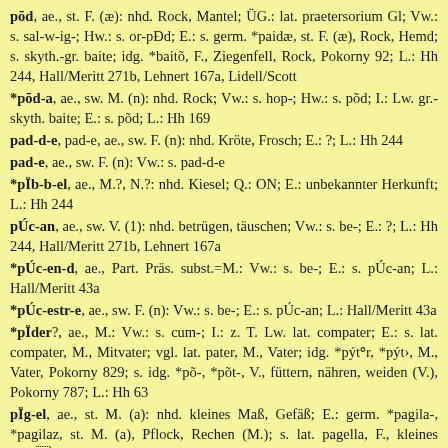põd, ae., st. F. (æ): nhd. Rock, Mantel; ÜG.: lat. praetersorium Gl; Vw.: s. sal-w-ig-; Hw.: s. or-pÐd; E.: s. germ. *paidæ, st. F. (æ), Rock, Hemd; s. skyth.-gr. baite; idg. *baitõ, F., Ziegenfell, Rock, Pokorny 92; L.: Hh 244, Hall/Meritt 271b, Lehnert 167a, Lidell/Scott
*põd-a, ae., sw. M. (n): nhd. Rock; Vw.: s. hop-; Hw.: s. põd; I.: Lw. gr.-skyth. baite; E.: s. põd; L.: Hh 169
pad-d-e, pad-e, ae., sw. F. (n): nhd. Kröte, Frosch; E.: ?; L.: Hh 244
pad-e, ae., sw. F. (n): Vw.: s. pad-d-e
*pÏb-b-el, ae., M.?, N.?: nhd. Kiesel; Q.: ON; E.: unbekannter Herkunft; L.: Hh 244
pÚc-an, ae., sw. V. (1): nhd. betrügen, täuschen; Vw.: s. be-; E.: ?; L.: Hh 244, Hall/Meritt 271b, Lehnert 167a
*pÚc-en-d, ae., Part. Präs. subst.=M.: Vw.: s. be-; E.: s. pÚc-an; L.: Hall/Meritt 43a
*pÚc-estr-e, ae., sw. F. (n): Vw.: s. be-; E.: s. pÚc-an; L.: Hall/Meritt 43a
*pÏder?, ae., M.: Vw.: s. cum-; I.: z. T. Lw. lat. compater; E.: s. lat. compater, M., Mitvater; vgl. lat. pater, M., Vater; idg. *pýtɒr, *pýt›, M., Vater, Pokorny 829; s. idg. *põ-, *põt-, V., füttern, nähren, weiden (V.), Pokorny 787; L.: Hh 63
pÏg-el, ae., st. M. (a): nhd. kleines Maß, Gefäß; E.: germ. *pagila-, *pagilaz, st. M. (a), Pflock, Rechen (M.); s. lat. pagella, F., kleines Feld; vgl. idg. *bak-, Sb., V., Stab, stechen?, stoßen?, schlagen?